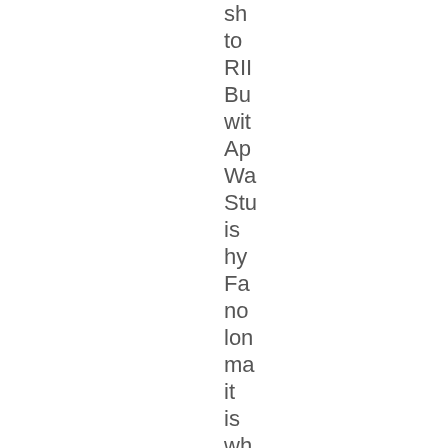sh
to
RII
Bu
wit
Ap
Wa
Stu
is
hy
Fa
no
lon
ma
it
is
wh
An